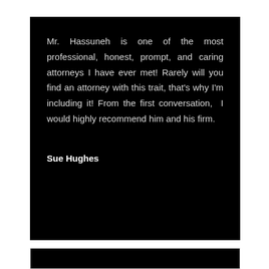Mr. Hassuneh is one of the most professional, honest, prompt, and caring attorneys I have ever met! Rarely will you find an attorney with this trait, that's why I'm including it! From the first conversation, I would highly recommend him and his firm.
Sue Hughes